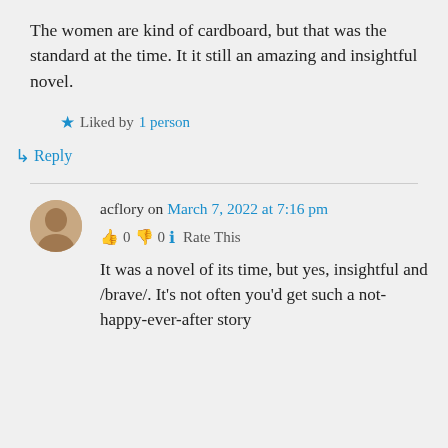The women are kind of cardboard, but that was the standard at the time. It it still an amazing and insightful novel.
★ Liked by 1 person
↪ Reply
acflory on March 7, 2022 at 7:16 pm
👍 0 👎 0 ℹ Rate This
It was a novel of its time, but yes, insightful and /brave/. It's not often you'd get such a not-happy-ever-after story